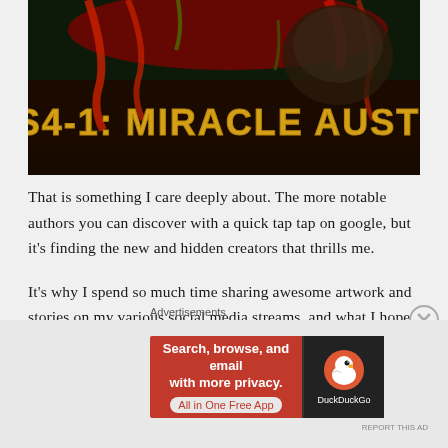[Figure (illustration): Dark horror-themed image with red and green splatter/drip effects and golden yellow text reading 'BS4-1: MIRACLE AUSTIN' on a black background]
That is something I care deeply about. The more notable authors you can discover with a quick tap tap on google, but it's finding the new and hidden creators that thrills me.
It's why I spend so much time sharing awesome artwork and stories on my various social media streams, and what I hope to offer the world. A little attention for my indie brethren, by-the-boot-strap horror creators who have amazing ideas and just need a little help getting out there. That's what this podcast
Advertisements
[Figure (screenshot): DuckDuckGo advertisement banner: red background with white text 'Search, browse, and email with more privacy. All in One Free App' and DuckDuckGo logo on dark background]